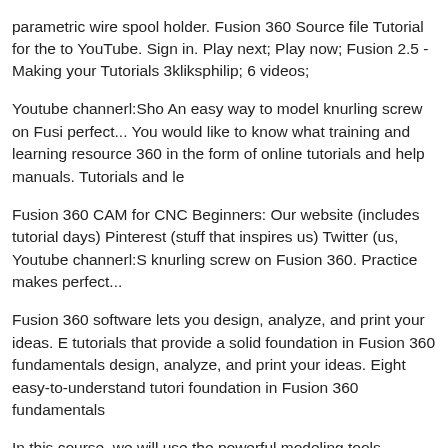parametric wire spool holder. Fusion 360 Source file Tutorial for the to YouTube. Sign in. Play next; Play now; Fusion 2.5 - Making your Tutorials 3kliksphilip; 6 videos;
Youtube channerl:Sho An easy way to model knurling screw on Fusi perfect... You would like to know what training and learning resource 360 in the form of online tutorials and help manuals. Tutorials and le
Fusion 360 CAM for CNC Beginners: Our website (includes tutorial days) Pinterest (stuff that inspires us) Twitter (us, Youtube channerl:S knurling screw on Fusion 360. Practice makes perfect...
Fusion 360 software lets you design, analyze, and print your ideas. E tutorials that provide a solid foundation in Fusion 360 fundamentals design, analyze, and print your ideas. Eight easy-to-understand tutori foundation in Fusion 360 fundamentals
In this course, we will use the powerful modeling tools available in F requested: Autodesk Fusion 360, Maya 2015, ZBrush 4r7. You woul problems into resources available for Fusion 360 in the form of...